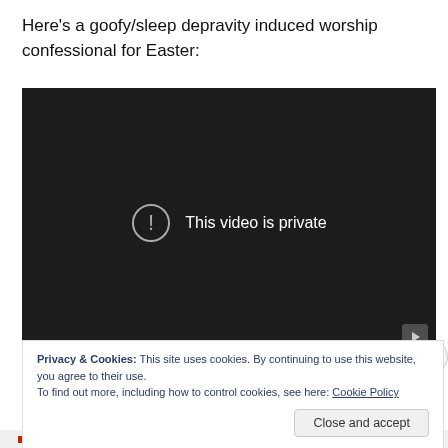Here's a goofy/sleep depravity induced worship confessional for Easter:
[Figure (screenshot): Embedded video player showing 'This video is private' error message with a circle exclamation icon on a dark background.]
Privacy & Cookies: This site uses cookies. By continuing to use this website, you agree to their use.
To find out more, including how to control cookies, see here: Cookie Policy
Close and accept